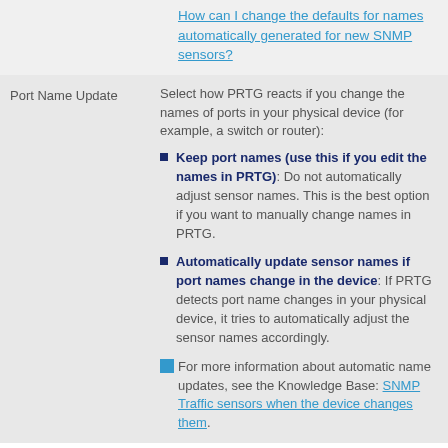How can I change the defaults for names automatically generated for new SNMP sensors?
Port Name Update
Select how PRTG reacts if you change the names of ports in your physical device (for example, a switch or router):
Keep port names (use this if you edit the names in PRTG): Do not automatically adjust sensor names. This is the best option if you want to manually change names in PRTG.
Automatically update sensor names if port names change in the device: If PRTG detects port name changes in your physical device, it tries to automatically adjust the sensor names accordingly.
For more information about automatic name updates, see the Knowledge Base: SNMP Traffic sensors when the device changes them.